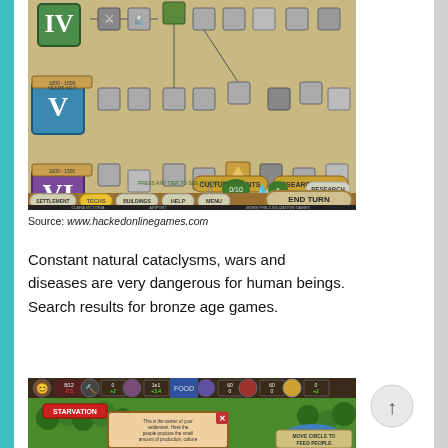[Figure (screenshot): Screenshot of a browser-based civilization/technology tree game showing a tech tree with various icons, culture points, research points, and game UI buttons including SETTLEMENT, TECHS, BUILDINGS, HELP, MENU, and END TURN.]
Source: www.hackedonlinegames.com
Constant natural cataclysms, wars and diseases are very dangerous for human beings. Search results for bronze age games.
[Figure (screenshot): Screenshot of a top-down strategy game showing a settlement map with trees, water, a STARVATION alert, a dialog box about the settlement center, and a MOVE CIRCLE TO FEED PEOPLE prompt.]